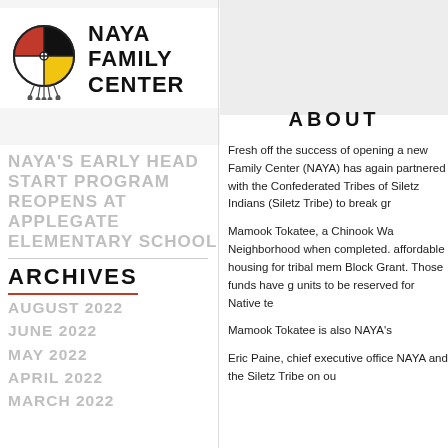[Figure (logo): NAYA Family Center logo: circular medicine wheel with black, red, white/yellow quadrants and hanging feathers, with NAYA FAMILY CENTER text to the right]
NAYA'S EARLY HEAD START PROGRAM REOPENS AT APPLEGATE ELEMENTARY SCHOOL
ARCHIVES
AUGUST 2022
JUNE 2022
MAY 2022
APRIL 2022
MARCH 2022
ABOUT
Fresh off the success of opening a new Family Center (NAYA) has again partnered with the Confederated Tribes of Siletz Indians (Siletz Tribe) to break gr
Mamook Tokatee, a Chinook Wawa phrase meaning 'to make beautiful,' will be located in Portland's Cully Neighborhood when completed. This 6-story, 68-unit apartment building will provide affordable housing for tribal members and will receive funding from the Community Development Block Grant. Those funds have come with the stipulation that a minimum of 30% of the units to be reserved for Native te
Mamook Tokatee is also NAYA's
Eric Paine, chief executive officer of NAYA and the Siletz Tribe on ou